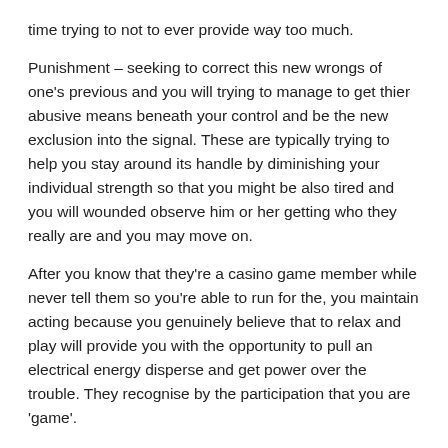time trying to not to ever provide way too much.
Punishment – seeking to correct this new wrongs of one's previous and you will trying to manage to get thier abusive means beneath your control and be the new exclusion into the signal. These are typically trying to help you stay around its handle by diminishing your individual strength so that you might be also tired and you will wounded observe him or her getting who they really are and you may move on.
After you know that they're a casino game member while never tell them so you're able to run for the, you maintain acting because you genuinely believe that to relax and play will provide you with the opportunity to pull an electrical energy disperse and get power over the trouble. They recognise by the participation that you are 'game'.
The fresh new 'driver' gamer thrives with the control as soon as they are aware the newest development and just